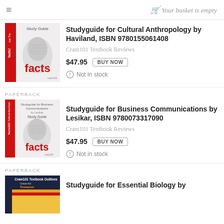Your basket is empty
[Figure (illustration): Book cover: Just The Facts Textbook - Study Guide, facts101 branding, head silhouette with maze design]
Studyguide for Cultural Anthropology by Haviland, ISBN 9780155061408
Cram101 Textbook Reviews
$47.95  BUY NOW
Not in stock
PAPERBACK
[Figure (illustration): Book cover: facts101 Textbook Key Facts - Studyguide for Business Communications by Lesikar - Study Guide, head silhouette with maze design]
Studyguide for Business Communications by Lesikar, ISBN 9780073317090
Cram101 Textbook Reviews
$47.95  BUY NOW
Not in stock
PAPERBACK
[Figure (illustration): Book cover: Cram101 Textbook Outlines - yellow and dark blue cover]
Studyguide for Essential Biology by